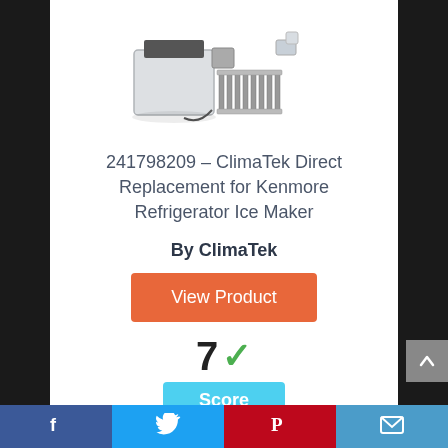[Figure (photo): Ice maker unit - white rectangular appliance with metal tray and wire components, photographed on white background]
241798209 – ClimaTek Direct Replacement for Kenmore Refrigerator Ice Maker
By ClimaTek
View Product
7 ✓ Score
Facebook | Twitter | Pinterest | Mail